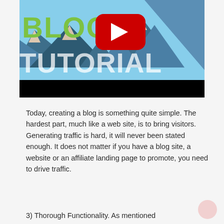[Figure (screenshot): YouTube video thumbnail showing 'BLOG TUTORIAL' text with mountain illustration background and YouTube play button overlay]
Today, creating a blog is something quite simple. The hardest part, much like a web site, is to bring visitors. Generating traffic is hard, it will never been stated enough. It does not matter if you have a blog site, a website or an affiliate landing page to promote, you need to drive traffic.
3) Thorough Functionality. As mentioned